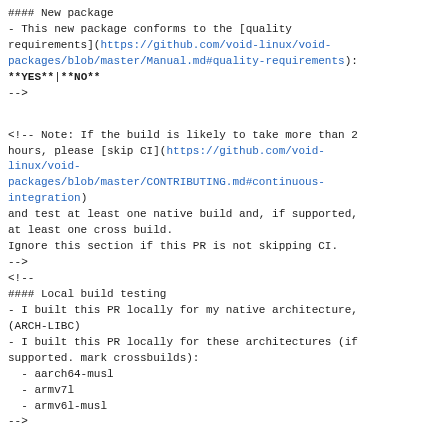#### New package
- This new package conforms to the [quality requirements](https://github.com/void-linux/void-packages/blob/master/Manual.md#quality-requirements):
**YES**|**NO**
-->

<!-- Note: If the build is likely to take more than 2 hours, please [skip CI](https://github.com/void-linux/void-packages/blob/master/CONTRIBUTING.md#continuous-integration)
and test at least one native build and, if supported, at least one cross build.
Ignore this section if this PR is not skipping CI.
-->
<!--
#### Local build testing
- I built this PR locally for my native architecture,
(ARCH-LIBC)
- I built this PR locally for these architectures (if supported. mark crossbuilds):
  - aarch64-musl
  - armv7l
  - armv6l-musl
-->


A patch file from https://github.com/void-linux/void-packages/pull/34742.patch is attached